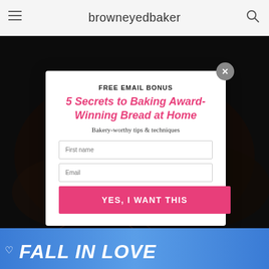browneyed baker
[Figure (photo): Dark background photo of baked bread, partially obscured by modal overlay]
FREE EMAIL BONUS
5 Secrets to Baking Award-Winning Bread at Home
Bakery-worthy tips & techniques
First name
Email
YES, I WANT THIS
[Figure (photo): Advertisement banner with blue background showing FALL IN LOVE text with dog image]